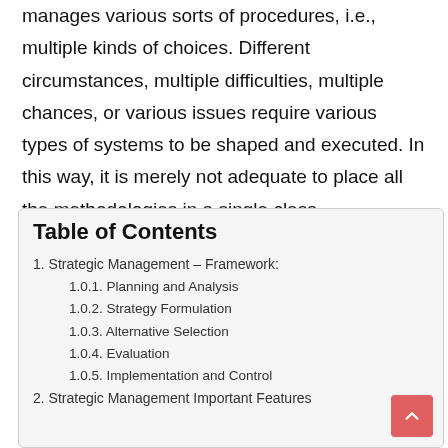manages various sorts of procedures, i.e., multiple kinds of choices. Different circumstances, multiple difficulties, multiple chances, or various issues require various types of systems to be shaped and executed. In this way, it is merely not adequate to place all the methodologies in a single class.
Table of Contents
1. Strategic Management – Framework:
1.0.1. Planning and Analysis
1.0.2. Strategy Formulation
1.0.3. Alternative Selection
1.0.4. Evaluation
1.0.5. Implementation and Control
2. Strategic Management Important Features